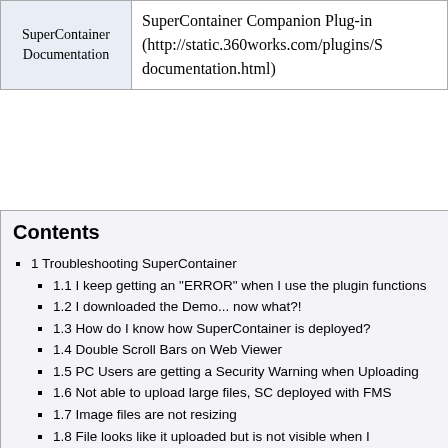| SuperContainer Documentation | SuperContainer Companion Plug-in (http://static.360works.com/plugins/S documentation.html) |
| --- | --- |
Contents
1 Troubleshooting SuperContainer
1.1 I keep getting an "ERROR" when I use the plugin functions
1.2 I downloaded the Demo... now what?!
1.3 How do I know how SuperContainer is deployed?
1.4 Double Scroll Bars on Web Viewer
1.5 PC Users are getting a Security Warning when Uploading
1.6 Not able to upload large files, SC deployed with FMS
1.7 Image files are not resizing
1.8 File looks like it uploaded but is not visible when I